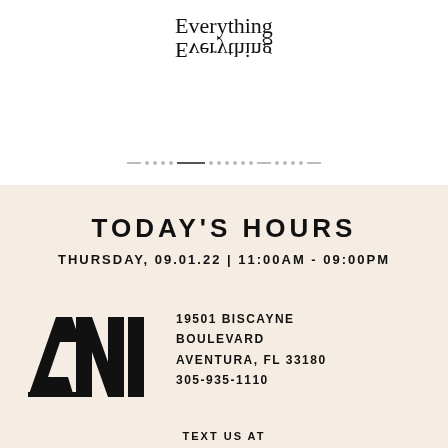[Figure (logo): Everything Everything text logo with top text normal and bottom text vertically flipped/mirrored]
TODAY'S HOURS
THURSDAY, 09.01.22 | 11:00AM - 09:00PM
[Figure (logo): Aventura Mall (AVi) stylized logo mark in black]
19501 BISCAYNE BOULEVARD
AVENTURA, FL 33180
305-935-1110
TEXT US AT